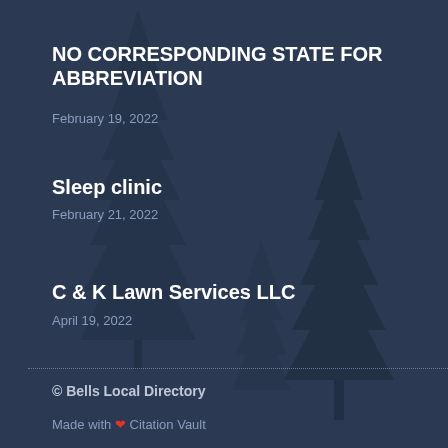NO CORRESPONDING STATE FOR ABBREVIATION
February 19, 2022
Sleep clinic
February 21, 2022
C & K Lawn Services LLC
April 19, 2022
© Bells Local Directory
Made with ❤ Citation Vault